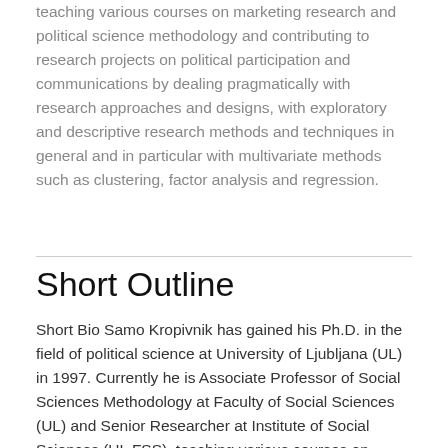teaching various courses on marketing research and political science methodology and contributing to research projects on political participation and communications by dealing pragmatically with research approaches and designs, with exploratory and descriptive research methods and techniques in general and in particular with multivariate methods such as clustering, factor analysis and regression.
Short Outline
Short Bio Samo Kropivnik has gained his Ph.D. in the field of political science at University of Ljubljana (UL) in 1997. Currently he is Associate Professor of Social Sciences Methodology at Faculty of Social Sciences (UL) and Senior Researcher at Institute of Social Sciences (UL FSS), teaching various courses on marketing research and political science methodology and contributing to research